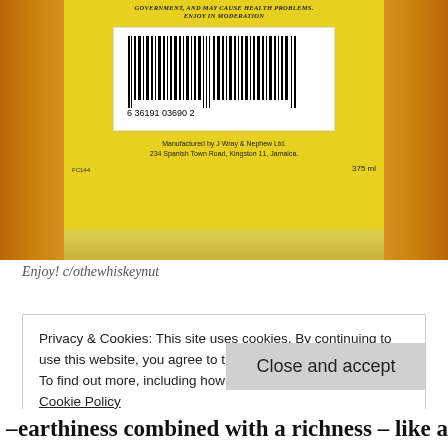[Figure (photo): Close-up of back label of a bottle of J Wray & Nephew rum. Yellow label with barcode (6 36191 03690 2), text 'Manufactured by J Wray & Nephew Ltd. 234 Spanish Town Road, Kingston 11, Jamaica. 375 ml'. Bottle is held against wooden background.]
Enjoy! c/othewhiskeynut
Privacy & Cookies: This site uses cookies. By continuing to use this website, you agree to their use.
To find out more, including how to control cookies, see here: Cookie Policy
Close and accept
– earthiness combined with a richness – like a Jamaica Cake –